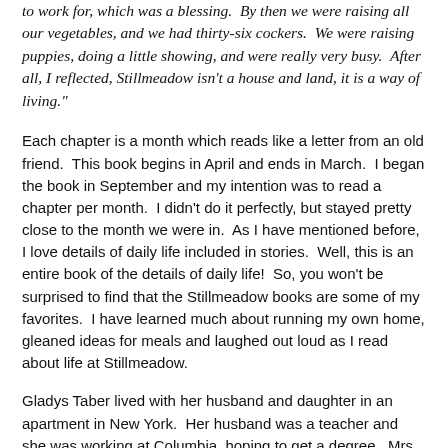to work for, which was a blessing.  By then we were raising all our vegetables, and we had thirty-six cockers.  We were raising puppies, doing a little showing, and were really very busy.  After all, I reflected, Stillmeadow isn't a house and land, it is a way of living."
Each chapter is a month which reads like a letter from an old friend.  This book begins in April and ends in March.  I began the book in September and my intention was to read a chapter per month.  I didn't do it perfectly, but stayed pretty close to the month we were in.  As I have mentioned before, I love details of daily life included in stories.  Well, this is an entire book of the details of daily life!  So, you won't be surprised to find that the Stillmeadow books are some of my favorites.  I have learned much about running my own home, gleaned ideas for meals and laughed out loud as I read about life at Stillmeadow.
Gladys Taber lived with her husband and daughter in an apartment in New York.  Her husband was a teacher and she was working at Columbia, hoping to get a degree.  Mrs. Taber wrote stories and articles for Redbook, The Saturday Evening Post and lived to write about farm life and Stillmeadow.